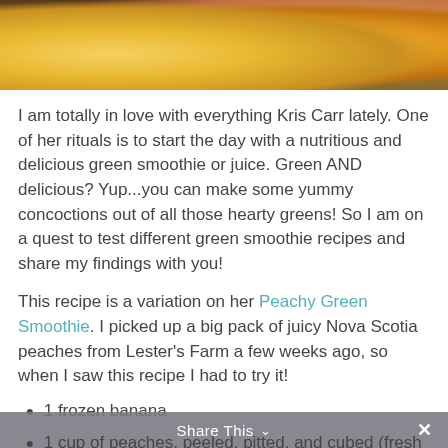[Figure (photo): Photo of fruits including bananas and a peach on a wooden surface, partially cropped at top]
I am totally in love with everything Kris Carr lately. One of her rituals is to start the day with a nutritious and delicious green smoothie or juice. Green AND delicious? Yup...you can make some yummy concoctions out of all those hearty greens! So I am on a quest to test different green smoothie recipes and share my findings with you!
This recipe is a variation on her Peachy Green Smoothie. I picked up a big pack of juicy Nova Scotia peaches from Lester's Farm a few weeks ago, so when I saw this recipe I had to try it!
1 frozen banana
1 cup of peaches, peeled, pitted, and cubed (fresh or frozen)
Share This ∨  ×